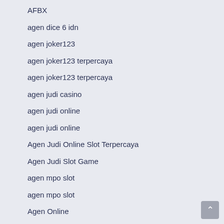AFBX
agen dice 6 idn
agen joker123
agen joker123 terpercaya
agen joker123 terpercaya
agen judi casino
agen judi online
agen judi online
Agen Judi Online Slot Terpercaya
Agen Judi Slot Game
agen mpo slot
agen mpo slot
Agen Online
agen osg777 terbaik
agen osg777 terbaik